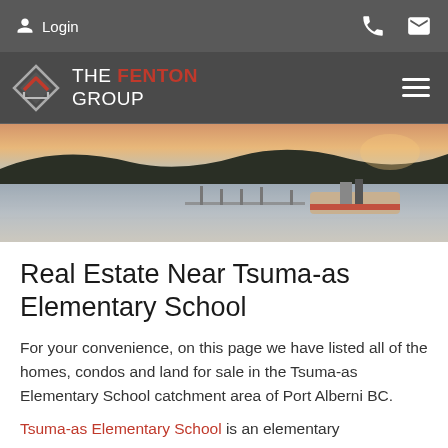Login | phone icon | email icon
[Figure (logo): The Fenton Group logo with house/diamond icon and hamburger menu]
[Figure (photo): Waterfront harbour scene at sunset with a dock and moored vessel, rolling forested hills in background, Port Alberni BC]
Real Estate Near Tsuma-as Elementary School
For your convenience, on this page we have listed all of the homes, condos and land for sale in the Tsuma-as Elementary School catchment area of Port Alberni BC.
Tsuma-as Elementary School is an elementary